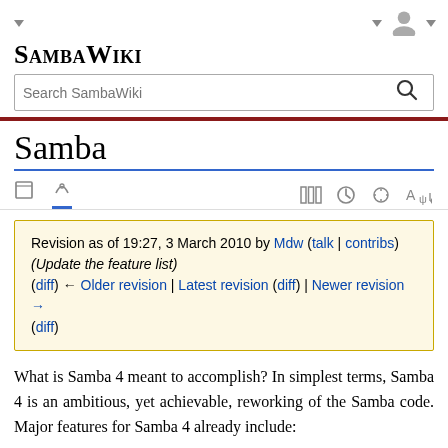SambaWiki
Samba
Revision as of 19:27, 3 March 2010 by Mdw (talk | contribs) (Update the feature list)
(diff) ← Older revision | Latest revision (diff) | Newer revision → (diff)
What is Samba 4 meant to accomplish? In simplest terms, Samba 4 is an ambitious, yet achievable, reworking of the Samba code. Major features for Samba 4 already include: